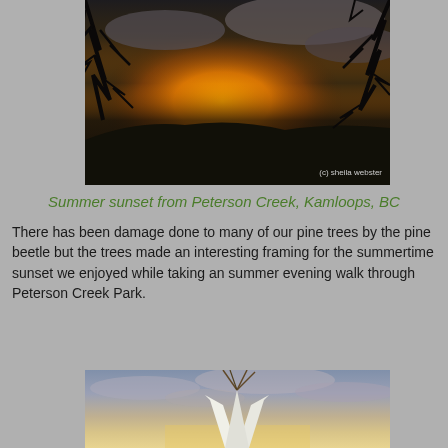[Figure (photo): Sunset photo from Peterson Creek, Kamloops, BC. Dark silhouettes of pine trees frame a vibrant orange and yellow sky at sunset, with hills visible in the background. Copyright watermark reads '(c) sheila webster' in bottom right corner.]
Summer sunset from Peterson Creek, Kamloops, BC
There has been damage done to many of our pine trees by the pine beetle but the trees made an interesting framing for the summertime sunset we enjoyed while taking an summer evening walk through Peterson Creek Park.
[Figure (photo): Photo of a teepee (tipi) silhouetted against a cloudy sunset sky with warm orange and golden tones.]